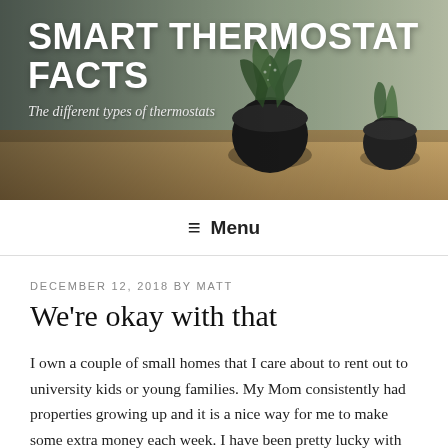[Figure (photo): Hero image of a home interior with potted plants on a wooden surface, with a dark blurred background. Overlaid with blog title and subtitle.]
SMART THERMOSTAT FACTS
The different types of thermostats
≡ Menu
DECEMBER 12, 2018 BY MATT
We're okay with that
I own a couple of small homes that I care about to rent out to university kids or young families. My Mom consistently had properties growing up and it is a nice way for me to make some extra money each week. I have been pretty lucky with all our tenants so far and I haven't had to put too much money into anything which is nice. About 2 weeks ago though, 1 of our tenants